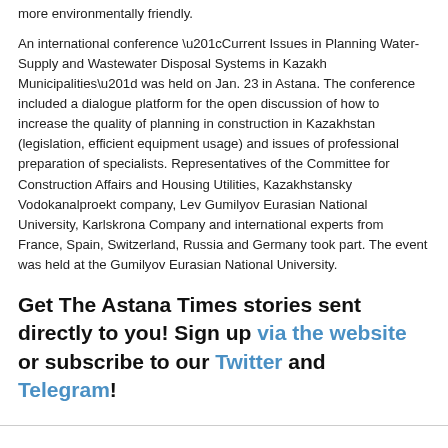more environmentally friendly.
An international conference “Current Issues in Planning Water-Supply and Wastewater Disposal Systems in Kazakh Municipalities” was held on Jan. 23 in Astana. The conference included a dialogue platform for the open discussion of how to increase the quality of planning in construction in Kazakhstan (legislation, efficient equipment usage) and issues of professional preparation of specialists. Representatives of the Committee for Construction Affairs and Housing Utilities, Kazakhstansky Vodokanalproekt company, Lev Gumilyov Eurasian National University, Karlskrona Company and international experts from France, Spain, Switzerland, Russia and Germany took part. The event was held at the Gumilyov Eurasian National University.
Get The Astana Times stories sent directly to you! Sign up via the website or subscribe to our Twitter and Telegram!